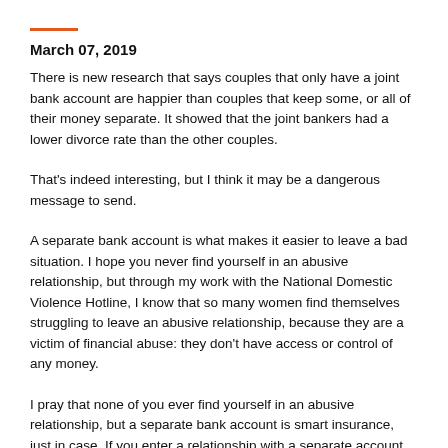March 07, 2019
There is new research that says couples that only have a joint bank account are happier than couples that keep some, or all of their money separate. It showed that the joint bankers had a lower divorce rate than the other couples.
That's indeed interesting, but I think it may be a dangerous message to send.
A separate bank account is what makes it easier to leave a bad situation. I hope you never find yourself in an abusive relationship, but through my work with the National Domestic Violence Hotline, I know that so many women find themselves struggling to leave an abusive relationship, because they are a victim of financial abuse: they don't have access or control of any money.
I pray that none of you ever find yourself in an abusive relationship, but a separate bank account is smart insurance, just in case. If you enter a relationship with a separate account, great! Add a joint account if that works for you, but keep your separate one. If you don't have a separate account,